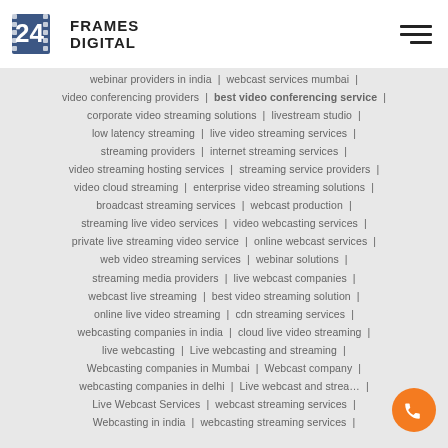24 FRAMES DIGITAL
webinar providers in india | webcast services mumbai | video conferencing providers | best video conferencing service | corporate video streaming solutions | livestream studio | low latency streaming | live video streaming services | streaming providers | internet streaming services | video streaming hosting services | streaming service providers | video cloud streaming | enterprise video streaming solutions | broadcast streaming services | webcast production | streaming live video services | video webcasting services | private live streaming video service | online webcast services | web video streaming services | webinar solutions | streaming media providers | live webcast companies | webcast live streaming | best video streaming solution | online live video streaming | cdn streaming services | webcasting companies in india | cloud live video streaming | live webcasting | Live webcasting and streaming | Webcasting companies in Mumbai | Webcast company | webcasting companies in delhi | Live webcast and streaming | Live Webcast Services | webcast streaming services